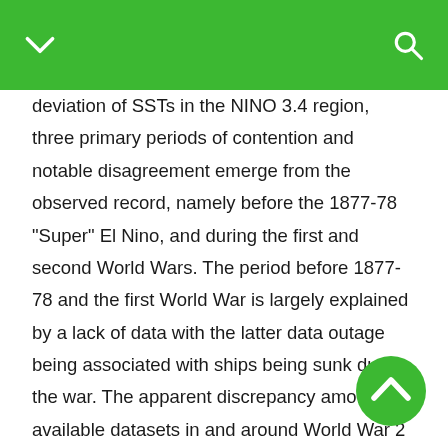deviation of SSTs in the NINO 3.4 region, three primary periods of contention and notable disagreement emerge from the observed record, namely before the 1877-78 "Super" El Nino, and during the first and second World Wars. The period before 1877-78 and the first World War is largely explained by a lack of data with the latter data outage being associated with ships being sunk during the war. The apparent discrepancy amongst available datasets in and around World War 2 however is multi-faceted, featuring both a similar loss of potential data from ships sunk in the war in addition to how SST observations were taken, with many ships switching from insulated bucket to engine room intake (ERI) measurements of SST and sampling more frequently during the daytime. This paradigm shift in SST collection strategies in/around World War 2 is potentially attributed to aformation according...